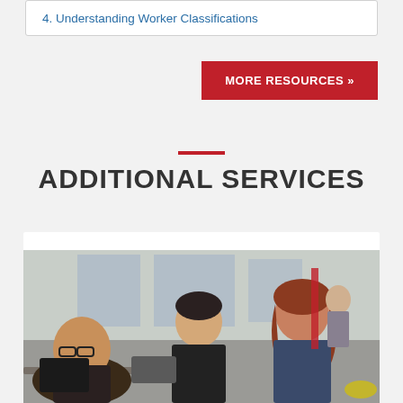4. Understanding Worker Classifications
MORE RESOURCES »
ADDITIONAL SERVICES
[Figure (photo): Three professionals in a casual office or meeting space: a man with glasses on the left, a young man in a black t-shirt in the center, and a woman with auburn hair smiling on the right. Background shows more people and large windows.]